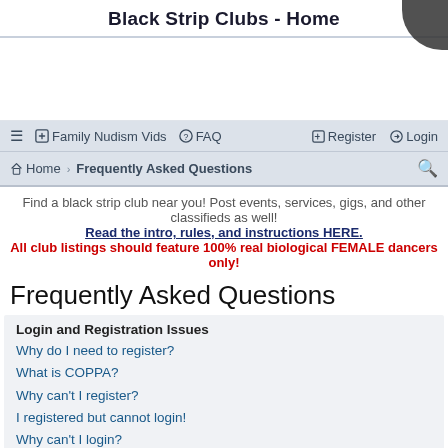Black Strip Clubs - Home
Find a black strip club near you! Post events, services, gigs, and other classifieds as well!
Read the intro, rules, and instructions HERE.
All club listings should feature 100% real biological FEMALE dancers only!
Frequently Asked Questions
Login and Registration Issues
Why do I need to register?
What is COPPA?
Why can't I register?
I registered but cannot login!
Why can't I login?
I registered in the past but cannot login any more?!
I've lost my password!